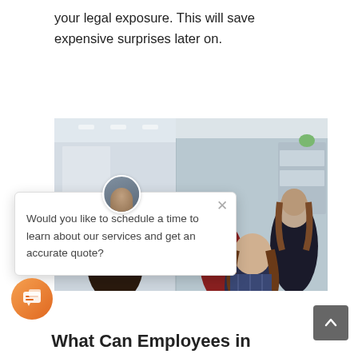your legal exposure. This will save expensive surprises later on.
[Figure (photo): Office meeting scene showing multiple people collaborating, with a chat popup overlay asking 'Would you like to schedule a time to learn about our services and get an accurate quote?']
What Can Employees in